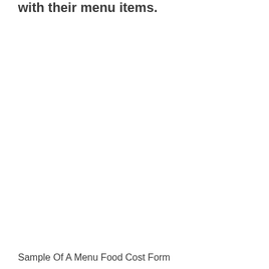with their menu items.
Sample Of A Menu Food Cost Form